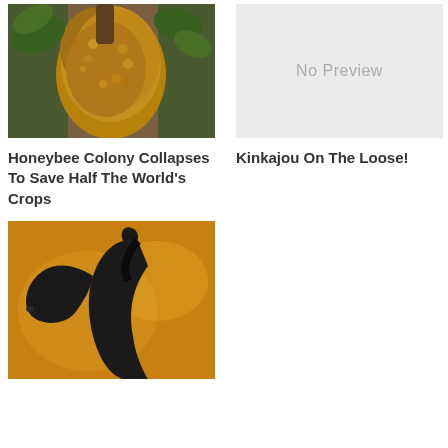[Figure (photo): Close-up photo of a honeybee colony/swarm on a tree branch with green leaves visible]
Honeybee Colony Collapses To Save Half The World's Crops
[Figure (other): No Preview placeholder box with gray background]
Kinkajou On The Loose!
[Figure (photo): Silhouette of a horse head against an orange/golden background]